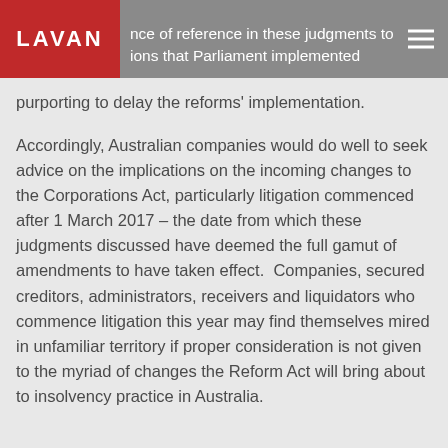nce of reference in these judgments to ions that Parliament implemented purporting to delay the reforms' implementation.
Accordingly, Australian companies would do well to seek advice on the implications on the incoming changes to the Corporations Act, particularly litigation commenced after 1 March 2017 – the date from which these judgments discussed have deemed the full gamut of amendments to have taken effect.  Companies, secured creditors, administrators, receivers and liquidators who commence litigation this year may find themselves mired in unfamiliar territory if proper consideration is not given to the myriad of changes the Reform Act will bring about to insolvency practice in Australia.